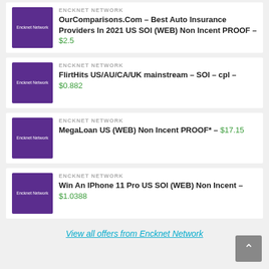ENCKNET NETWORK – OurComparisons.Com – Best Auto Insurance Providers In 2021 US SOI (WEB) Non Incent PROOF – $2.5
ENCKNET NETWORK – FlirtHits US/AU/CA/UK mainstream – SOI – cpl – $0.882
ENCKNET NETWORK – MegaLoan US (WEB) Non Incent PROOF* – $17.15
ENCKNET NETWORK – Win An IPhone 11 Pro US SOI (WEB) Non Incent – $1.0388
View all offers from Encknet Network